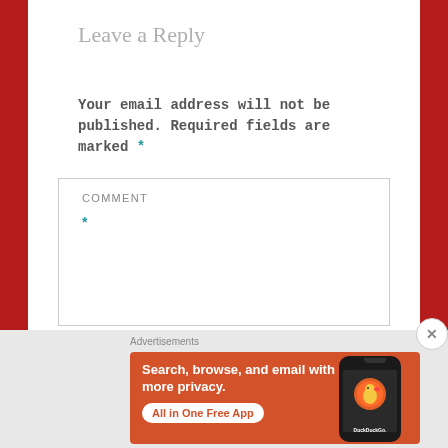Leave a Reply
Your email address will not be published. Required fields are marked *
COMMENT *
[Figure (screenshot): DuckDuckGo advertisement banner with orange background showing 'Search, browse, and email with more privacy. All in One Free App' text with phone mockup showing DuckDuckGo logo]